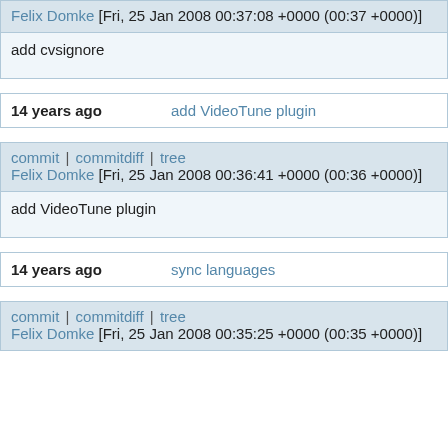Felix Domke [Fri, 25 Jan 2008 00:37:08 +0000 (00:37 +0000)]
add cvsignore
14 years ago   add VideoTune plugin
commit | commitdiff | tree
Felix Domke [Fri, 25 Jan 2008 00:36:41 +0000 (00:36 +0000)]
add VideoTune plugin
14 years ago   sync languages
commit | commitdiff | tree
Felix Domke [Fri, 25 Jan 2008 00:35:25 +0000 (00:35 +0000)]